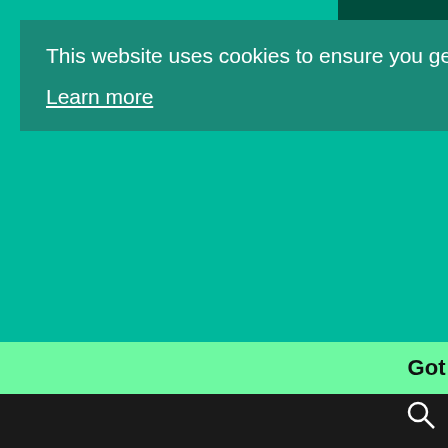This website uses cookies to ensure you get the best experience on our website.
Learn more
Got it!
🏠 > News
New Galaxy S9 Details Showcase Samsung's Advanced Hardware
11:09  Mymobitips